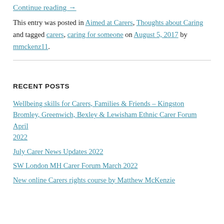Continue reading →
This entry was posted in Aimed at Carers, Thoughts about Caring and tagged carers, caring for someone on August 5, 2017 by mmckenz11.
RECENT POSTS
Wellbeing skills for Carers, Families & Friends – Kingston
Bromley, Greenwich, Bexley & Lewisham Ethnic Carer Forum April 2022
July Carer News Updates 2022
SW London MH Carer Forum March 2022
New online Carers rights course by Matthew McKenzie